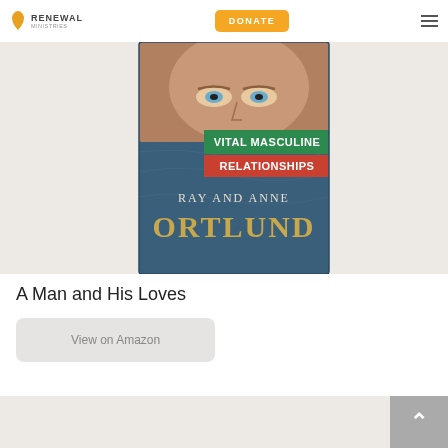Renewal Ministries — DONATE
[Figure (photo): Book cover for 'A Man and His Loves' showing a close-up of a man's face, text 'VITAL MASCULINE RELATIONSHIPS' on green and red banners, and authors 'RAY AND ANNE ORTLUND' on a blue textured background]
A Man and His Loves
View on Amazon